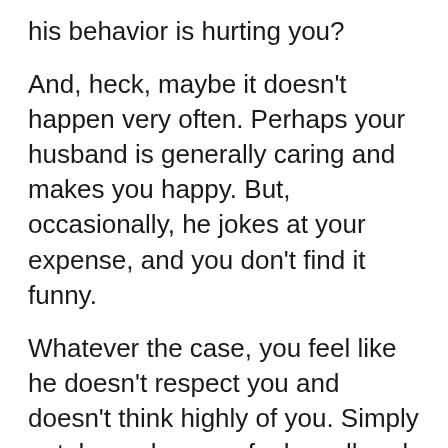his behavior is hurting you?
And, heck, maybe it doesn't happen very often. Perhaps your husband is generally caring and makes you happy. But, occasionally, he jokes at your expense, and you don't find it funny.
Whatever the case, you feel like he doesn't respect you and doesn't think highly of you. Simply put, he makes you feel small and unworthy.
What can you do about it? Is there a way to make the condensing behavior stop?